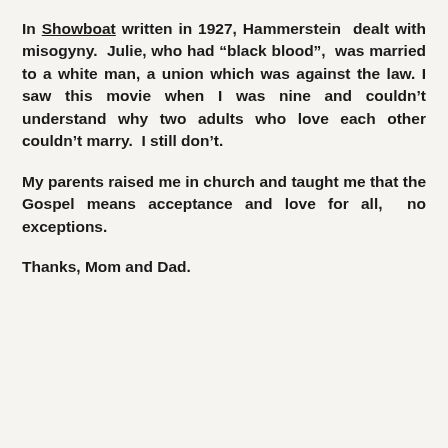In Showboat written in 1927, Hammerstein dealt with misogyny. Julie, who had “black blood”, was married to a white man, a union which was against the law. I saw this movie when I was nine and couldn’t understand why two adults who love each other couldn’t marry. I still don’t.
My parents raised me in church and taught me that the Gospel means acceptance and love for all, no exceptions.
Thanks, Mom and Dad.